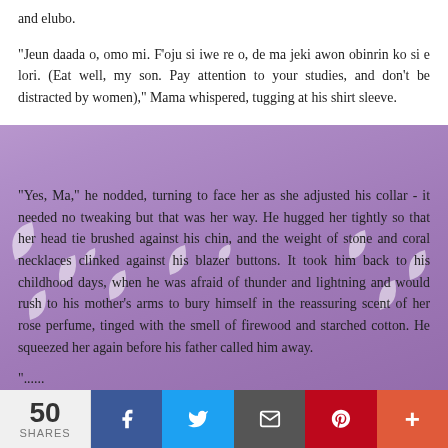and elubo.
"Jeun daada o, omo mi. F'oju si iwe re o, de ma jeki awon obinrin ko si e lori. (Eat well, my son. Pay attention to your studies, and don't be distracted by women)," Mama whispered, tugging at his shirt sleeve.
"Yes, Ma," he nodded, turning to face her as she adjusted his collar - it needed no tweaking but that was her way. He hugged her tightly so that her head tie brushed against his chin, and the weight of stone and coral necklaces clinked against his blazer buttons. It took him back to his childhood days, when he was afraid of thunder and lightning and would rush to his mother's arms to bury himself in the reassuring scent of her rose perfume, tinged with the smell of firewood and starched cotton. He squeezed her again before his father called him away.
50 SHARES | Facebook | Twitter | Email | Pinterest | +